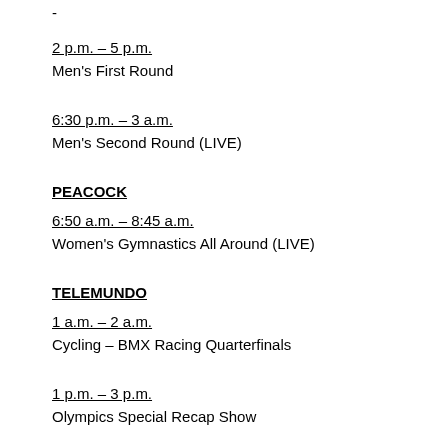-
2 p.m. – 5 p.m.
Men's First Round
6:30 p.m. – 3 a.m.
Men's Second Round (LIVE)
PEACOCK
6:50 a.m. – 8:45 a.m.
Women's Gymnastics All Around (LIVE)
TELEMUNDO
1 a.m. – 2 a.m.
Cycling – BMX Racing Quarterfinals
1 p.m. – 3 p.m.
Olympics Special Recap Show